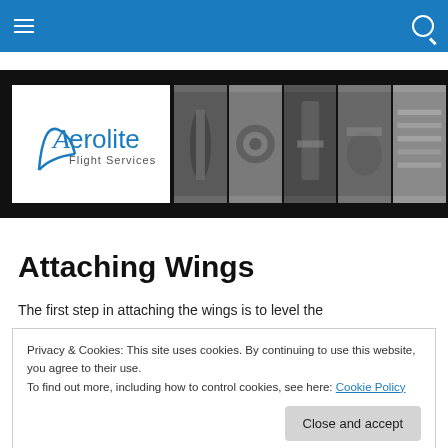Aerolite Flight Services — navigation bar
[Figure (logo): Aerolite Flight Services logo with banner photos of aircraft parts and manufacturing]
Attaching Wings
The first step in attaching the wings is to level the
Privacy & Cookies: This site uses cookies. By continuing to use this website, you agree to their use. To find out more, including how to control cookies, see here: Cookie Policy
Close and accept